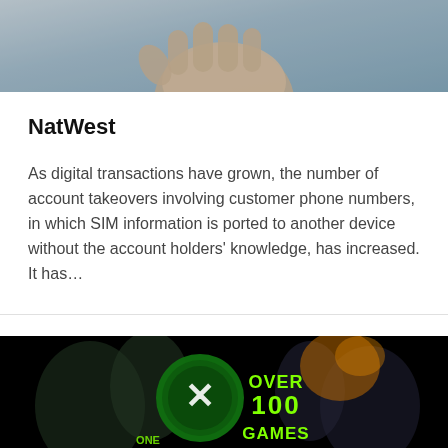[Figure (photo): Close-up photo of a hand/fist with blue-grey background]
NatWest
As digital transactions have grown, the number of account takeovers involving customer phone numbers, in which SIM information is ported to another device without the account holders' knowledge, has increased. It has…
[Figure (photo): Xbox game pass promotional image showing video game characters around an Xbox logo with text 'OVER 100 GAMES']